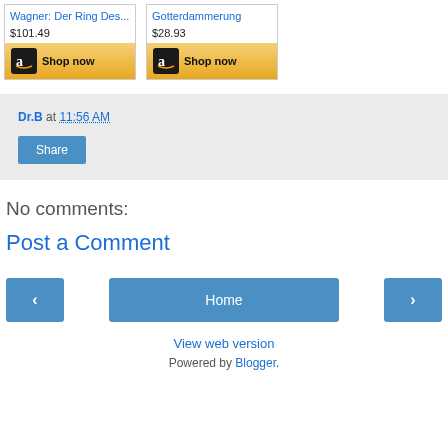[Figure (screenshot): Amazon product card for 'Wagner: Der Ring Des...' priced at $101.49 with a golden 'Shop now' button featuring the Amazon logo]
[Figure (screenshot): Amazon product card for 'Gotterdammerung' priced at $28.93 with a golden 'Shop now' button featuring the Amazon logo]
Dr.B at 11:56 AM
Share
No comments:
Post a Comment
< Home >
View web version
Powered by Blogger.